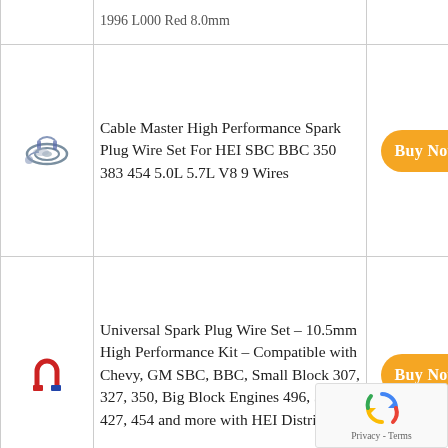| Image | Product Name | Action |
| --- | --- | --- |
| [product image] | 1996 L000 Red 8.0mm |  |
| [spark plug wires image] | Cable Master High Performance Spark Plug Wire Set For HEI SBC BBC 350 383 454 5.0L 5.7L V8 9 Wires | Buy Now |
| [magnet icon] | Universal Spark Plug Wire Set – 10.5mm High Performance Kit – Compatible with Chevy, GM SBC, BBC, Small Block 307, 327, 350, Big Block Engines 496, 502, 427, 454 and more with HEI Distributor | Buy Now |